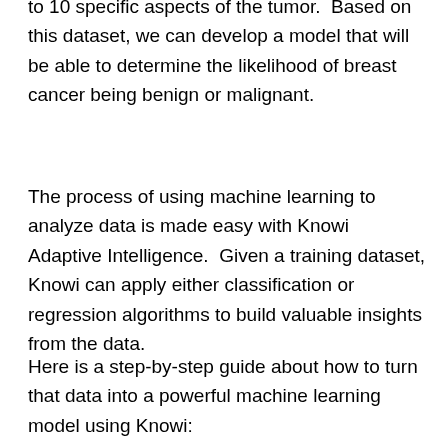to 10 specific aspects of the tumor.  Based on this dataset, we can develop a model that will be able to determine the likelihood of breast cancer being benign or malignant.
The process of using machine learning to analyze data is made easy with Knowi Adaptive Intelligence.  Given a training dataset, Knowi can apply either classification or regression algorithms to build valuable insights from the data.
Here is a step-by-step guide about how to turn that data into a powerful machine learning model using Knowi: